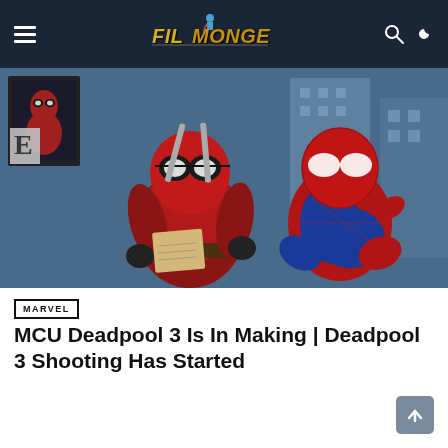Filmonger — navigation bar with hamburger menu, logo, search and dark mode icons
[Figure (photo): Deadpool and Spider-Man side by side, Deadpool reading a piece of paper, Spider-Man crouching beside him. A small inset portrait of Deadpool is visible in the upper left corner of the photo. City building background.]
MARVEL
MCU Deadpool 3 Is In Making | Deadpool 3 Shooting Has Started